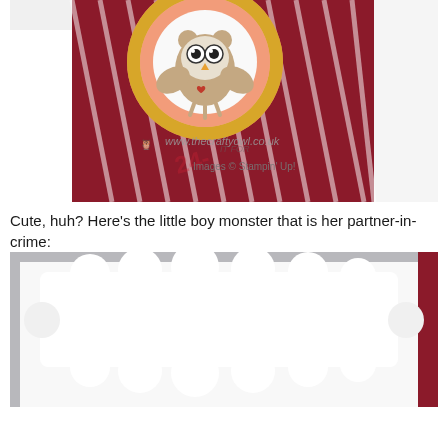[Figure (photo): Close-up photo of a handmade craft card featuring an owl monster design with coral/pink chevron patterned paper, dark red striped paper, yellow and gold circular frames, and tan colored owl embellishments. Watermark shows www.thecraftyowl.co.uk and Images © Stampin' Up!]
Cute, huh? Here's the little boy monster that is her partner-in-crime:
[Figure (photo): Partial photo showing a white handmade card with a decorative scalloped/bone-shaped topper in white, visible against a light gray background with a hint of dark red/crimson card edge on the right side.]